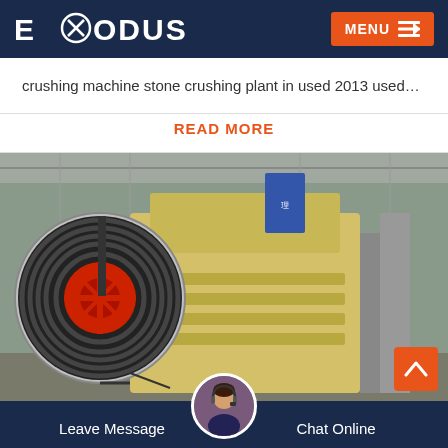EXODUS  MENU
crushing machine stone crushing plant in used 2013 used…
READ MORE
[Figure (photo): Industrial jaw crusher machine with large red flywheel/pulley and yellow body, photographed in a factory or warehouse setting]
Leave Message   Chat Online